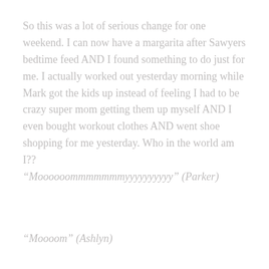So this was a lot of serious change for one weekend.  I can now have a margarita after Sawyers bedtime feed AND I found something to do just for me.  I actually worked out yesterday morning while Mark got the kids up instead of feeling I had to be crazy super mom getting them up myself AND I even bought workout clothes AND went shoe shopping for me yesterday.  Who in the world am I??
“Moooooommmmmmmyyyyyyyyyy” (Parker)
“Moooom” (Ashlyn)